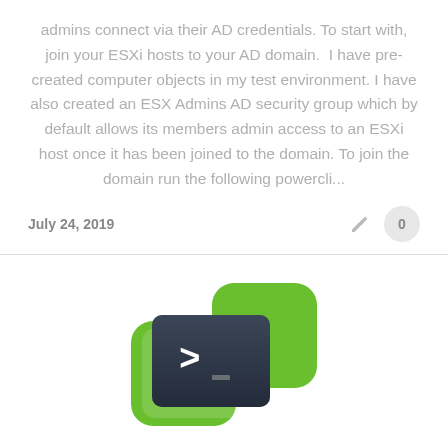admins connect via their AD credentials. To start with, join your ESXi hosts to your AD domain.  I have pre-created computer objects in my test environment. I have also created an ESX Admins AD security group which by default allows its members admin access to an ESXi host once it has been joined to the domain. To join the domain run the following powercli...
July 24, 2019
[Figure (logo): PowerCLI logo — two overlapping green rounded rectangles with a dark terminal window showing a '>' prompt]
ESXi / PowerCLI / Powershell / SDDC / VMware / vSphere